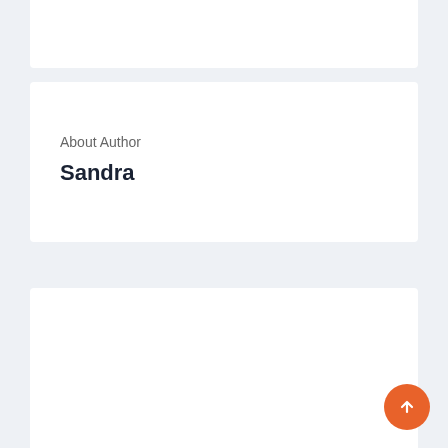About Author
Sandra
PREVIOUS POST
Boxing Champion Dies Days After Falling Into Coma Following Knockout During Fight
NEXT POST
Juventus come back from a two-goal deficit to defeat J Mourinho's Roma -3.